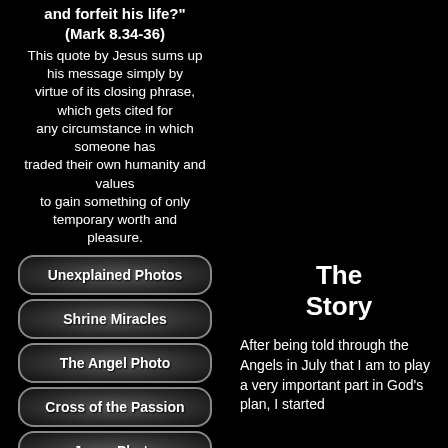and forfeit his life?"
(Mark 8.34-36)
This quote by Jesus sums up his message simply by virtue of its closing phrase, which gets cited for any circumstance in which someone has traded their own humanity and values to gain something of only temporary worth and pleasure.
Unexplained Photos
Shrine Miracles
The Angel Photo
Cross of the Passion
Jesus Photo
The DNA of JESUS
The Story
After being told through the Angels in July that I am to play a very important part in God's plan, I started